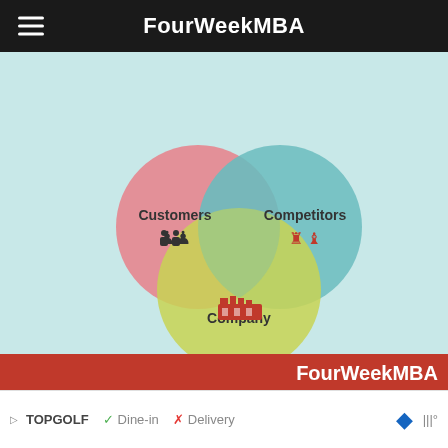FourWeekMBA
The 3C Analysis Business Model was developed by Japanese business strategist Kenichi Ohmae. The 3C Model is a marketing tool that focuses on customers, competitors, and the company. At the intersection of these three variables lies an effective marketing strategy to gain a potential competitive advantage and build a lasting company.
[Figure (infographic): Venn diagram showing three overlapping circles labeled Customers (pink, top-left), Competitors (teal, top-right), and Company (yellow-green, bottom-center) on a light blue background, with icons for each. Branded with FourWeekMBA logo in red bar at bottom.]
The 3C Analysis Business Model was